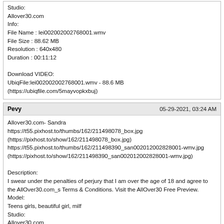Studio:
Allover30.com
Info:
File Name : lei002002002768001.wmv
File Size : 88.62 MB
Resolution : 640x480
Duration : 00:11:12

Download VIDEO:
UbiqFile:lei002002002768001.wmv - 88.6 MB
(https://ubiqfile.com/5mayvopkxbuj)
Pevy
05-29-2021, 03:24 AM
Allover30.com- Sandra
https://t55.pixhost.to/thumbs/162/211498078_box.jpg
(https://pixhost.to/show/162/211498078_box.jpg)
https://t55.pixhost.to/thumbs/162/211498390_san002012002828001-wmv.jpg
(https://pixhost.to/show/162/211498390_san002012002828001-wmv.jpg)

Description:
I swear under the penalties of perjury that I am over the age of 18 and agree to the AllOver30.com_s Terms & Conditions. Visit the AllOver30 Free Preview.
Model:
Teens girls, beautiful girl, milf
Studio:
Allover30.com
Info:
File Name : san002012002828001.wmv
File Size : 231.84 MB
Resolution : 640x480
Duration : 00:27:58

Download VIDEO:
UbiqFile:san002012002828001.wmv - 231.8 MB
(https://ubiqfile.com/qand4cnxxngj)